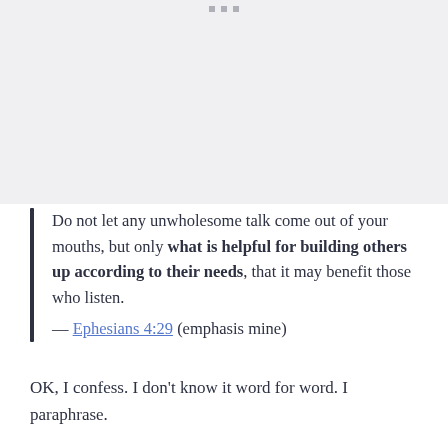[Figure (other): Gray rectangular image placeholder area with three small square dots at the top center]
Do not let any unwholesome talk come out of your mouths, but only what is helpful for building others up according to their needs, that it may benefit those who listen.
— Ephesians 4:29 (emphasis mine)
OK, I confess. I don't know it word for word. I paraphrase.